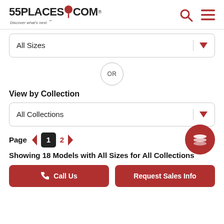55PLACES.COM - Discover what's next.
All Sizes
OR
View by Collection
All Collections
Page 1 2
Showing 18 Models with All Sizes for All Collections
Call Us
Request Sales Info